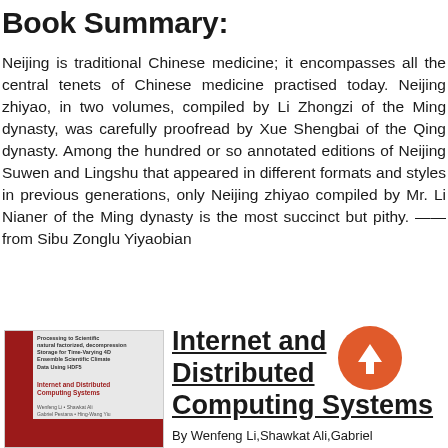Book Summary:
Neijing is traditional Chinese medicine; it encompasses all the central tenets of Chinese medicine practised today. Neijing zhiyao, in two volumes, compiled by Li Zhongzi of the Ming dynasty, was carefully proofread by Xue Shengbai of the Qing dynasty. Among the hundred or so annotated editions of Neijing Suwen and Lingshu that appeared in different formats and styles in previous generations, only Neijing zhiyao compiled by Mr. Li Nianer of the Ming dynasty is the most succinct but pithy. ——from Sibu Zonglu Yiyaobian
[Figure (illustration): Book cover of Internet and Distributed Computing Systems with a red spine and grey background]
Internet and Distributed Computing Systems
By Wenfeng Li,Shawkat Ali,Gabriel